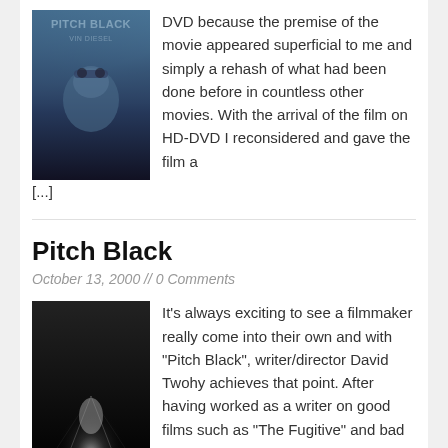[Figure (photo): Pitch Black movie poster (HD-DVD version) showing a bald man with goggles on his head against a blue sci-fi background with the title 'Pitch Black' and 'Vin Diesel' text]
DVD because the premise of the movie appeared superficial to me and simply a rehash of what had been done before in countless other movies. With the arrival of the film on HD-DVD I reconsidered and gave the film a [...]
Pitch Black
October 13, 2000 // 0 Comments
[Figure (photo): Pitch Black movie poster (original theatrical) showing the title 'PITCH BLACK' in large letters with tagline 'Hip, Sexy and Scary as Hell' and a figure with light emanating from behind against a dark background]
It's always exciting to see a filmmaker really come into their own and with "Pitch Black", writer/director David Twohy achieves that point. After having worked as a writer on good films such as "The Fugitive" and bad films such as [...]